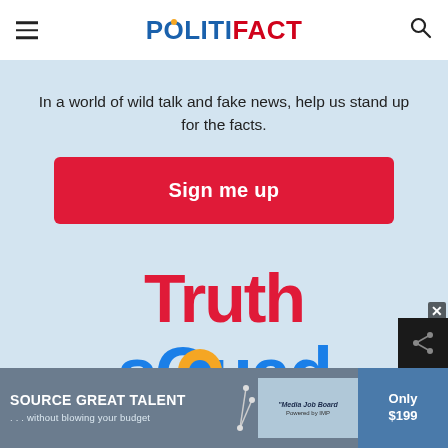POLITIFACT
In a world of wild talk and fake news, help us stand up for the facts.
Sign me up
[Figure (logo): Truth Squad logo — red and blue stylized text with a yellow circle replacing the 'o' in Squad]
[Figure (infographic): Advertisement banner: Source Great Talent ...without blowing your budget / Media Job Board / Only $199]